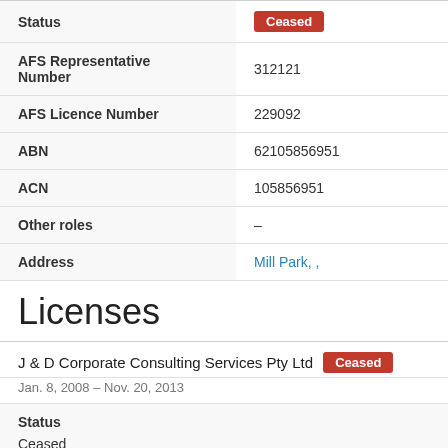| Field | Value |
| --- | --- |
| Status | Ceased |
| AFS Representative Number | 312121 |
| AFS Licence Number | 229092 |
| ABN | 62105856951 |
| ACN | 105856951 |
| Other roles | – |
| Address | Mill Park, , |
Licenses
J & D Corporate Consulting Services Pty Ltd  Ceased
Jan. 8, 2008 – Nov. 20, 2013
Status
Ceased